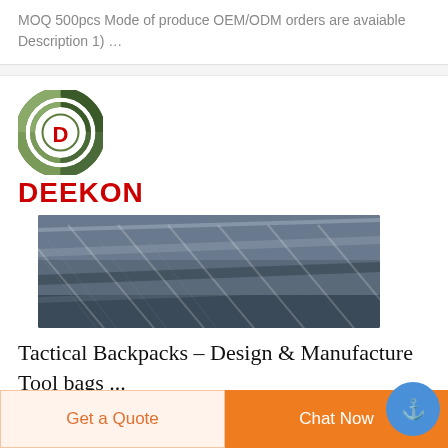MOQ 500pcs Mode of produce OEM/ODM orders are avaiable Description 1) …
[Figure (logo): Deekon company logo: circular target/scope design in green camouflage colors with red D letter in center, and DEEKON in bold red text below]
[Figure (photo): Close-up photo of folded dark blue/grey fabric rolls with diagonal stripe patterns, showing textile product samples]
Tactical Backpacks - Design & Manufacture Tool bags ...
Get a Quote
Chat Now